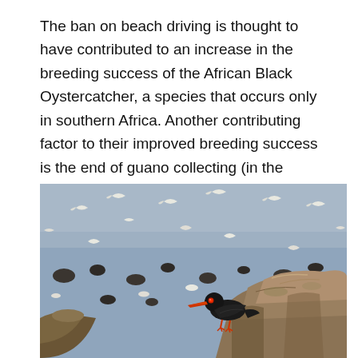The ban on beach driving is thought to have contributed to an increase in the breeding success of the African Black Oystercatcher, a species that occurs only in southern Africa. Another contributing factor to their improved breeding success is the end of guano collecting (in the 1980s) on offshore islands where about 30% of African Black Oystercatchers are found.
[Figure (photo): A black African Black Oystercatcher bird with a distinctive red beak perched on rocky terrain in the foreground. The background shows a coastal scene with shallow water, dark rocks scattered throughout, and several white seagulls in flight and resting on the water.]